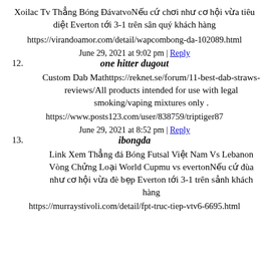Xoilac Tv Thẳng Bóng ĐávatvoNếu cứ chơi như cơ hội vừa tiêu diệt Everton tới 3-1 trên sân quý khách hàng
https://virandoamor.com/detail/wapcombong-da-102089.html
June 29, 2021 at 9:02 pm | Reply
12. one hitter dugout
Custom Dab Mathttps://reknet.se/forum/11-best-dab-straws-reviews/All products intended for use with legal smoking/vaping mixtures only .
https://www.posts123.com/user/838759/triptiger87
June 29, 2021 at 8:52 pm | Reply
13. ibongda
Link Xem Thẳng đá Bóng Futsal Việt Nam Vs Lebanon Vòng Chửng Loại World Cupmu vs evertonNếu cứ đùa như cơ hội vừa đè bẹp Everton tới 3-1 trên sảnh khách hàng
https://murraystivoli.com/detail/fpt-truc-tiep-vtv6-6695.html